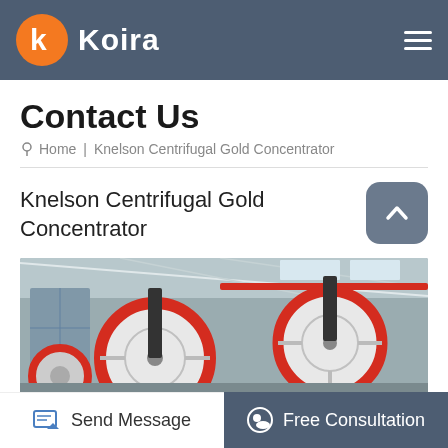Koira
Contact Us
Home | Knelson Centrifugal Gold Concentrator
Knelson Centrifugal Gold Concentrator
[Figure (photo): Industrial machinery in a factory setting showing large wheel-like components with red and white coloring, set against a warehouse interior with steel beams and skylights.]
Send Message
Free Consultation